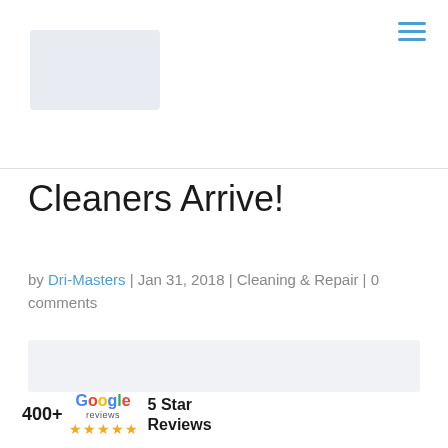[Figure (logo): Company logo placeholder (light blue-grey rectangle)]
[Figure (other): Hamburger menu icon (three horizontal blue lines)]
Cleaners Arrive!
by Dri-Masters | Jan 31, 2018 | Cleaning & Repair | 0 comments
[Figure (photo): Article image placeholder (light grey rectangle)]
[Figure (infographic): 400+ Google 5 Star Reviews badge with gold stars]